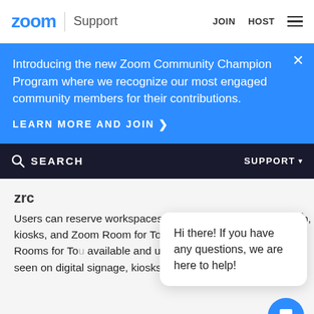zoom | Support    JOIN    HOST
Introducing the new Zoom Community Champion Program where we recognize our most engaged community members for their contributions.
LEARN MORE AND JOIN >
SEARCH    SUPPORT
zrc
Users can reserve workspaces and Zoom Rooms on the web, kiosks, and Zoom Room for Touch devices. workspaces the Rooms for To available and unavailable workspaces can be seen on digital signage, kiosks, and the w
Hi there! If you have any questions, we are here to help!
R    ues
Give Feedback